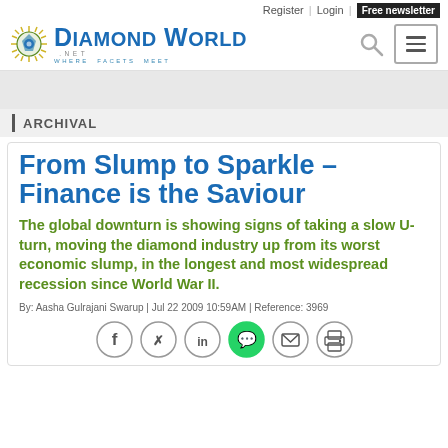Register | Login | Free newsletter
[Figure (logo): Diamond World logo with sun/starburst icon and tagline WHERE FACETS MEET]
| ARCHIVAL
From Slump to Sparkle – Finance is the Saviour
The global downturn is showing signs of taking a slow U-turn, moving the diamond industry up from its worst economic slump, in the longest and most widespread recession since World War II.
By: Aasha Gulrajani Swarup | Jul 22 2009 10:59AM | Reference: 3969
[Figure (infographic): Social sharing icons: Facebook, Twitter, LinkedIn, WhatsApp (green), Email, Print]